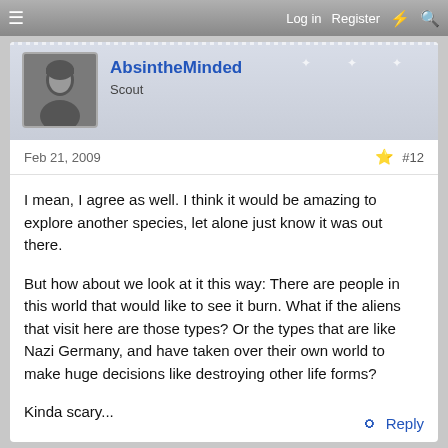Log in  Register
AbsintheMinded
Scout
Feb 21, 2009  #12
I mean, I agree as well. I think it would be amazing to explore another species, let alone just know it was out there.

But how about we look at it this way: There are people in this world that would like to see it burn. What if the aliens that visit here are those types? Or the types that are like Nazi Germany, and have taken over their own world to make huge decisions like destroying other life forms?

Kinda scary...
Reply